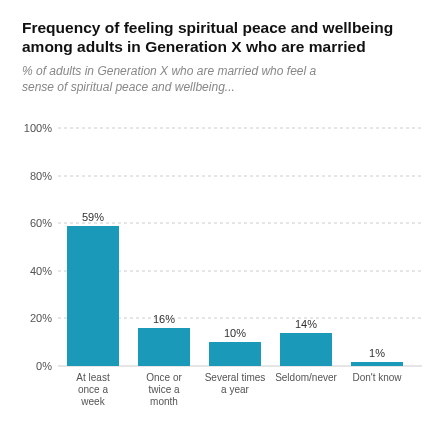Frequency of feeling spiritual peace and wellbeing among adults in Generation X who are married
% of adults in Generation X who are married who feel a sense of spiritual peace and wellbeing...
[Figure (bar-chart): Frequency of feeling spiritual peace and wellbeing among adults in Generation X who are married]